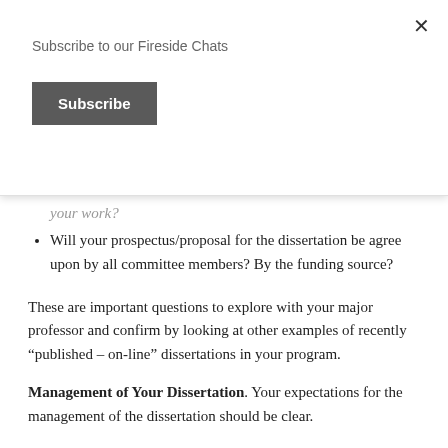Subscribe to our Fireside Chats
Subscribe
your work?
Will your prospectus/proposal for the dissertation be agree upon by all committee members? By the funding source?
These are important questions to explore with your major professor and confirm by looking at other examples of recently “published – on-line” dissertations in your program.
Management of Your Dissertation. Your expectations for the management of the dissertation should be clear.